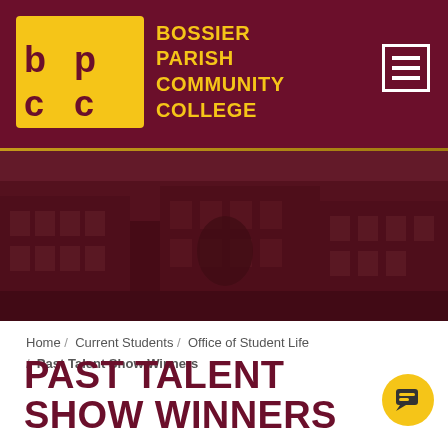BOSSIER PARISH COMMUNITY COLLEGE
[Figure (logo): BPCC logo with gold square containing 'bpcc' letters and college name text in gold on dark red background, with hamburger menu icon in top right]
[Figure (photo): Darkened photo of Bossier Parish Community College campus buildings exterior]
Home / Current Students / Office of Student Life / Past Talent Show Winners
PAST TALENT SHOW WINNERS